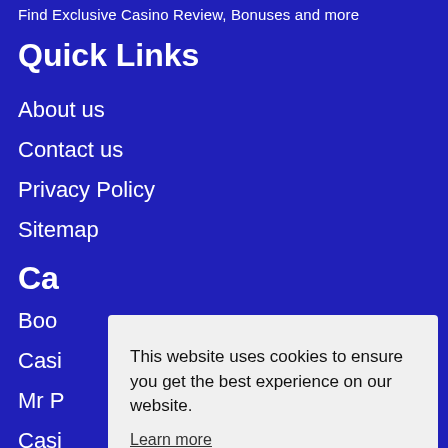Find Exclusive Casino Review, Bonuses and more
Quick Links
About us
Contact us
Privacy Policy
Sitemap
Ca
Boo
Casi
Mr P
Casi
Casino Lab
This website uses cookies to ensure you get the best experience on our website.
Learn more
Got it